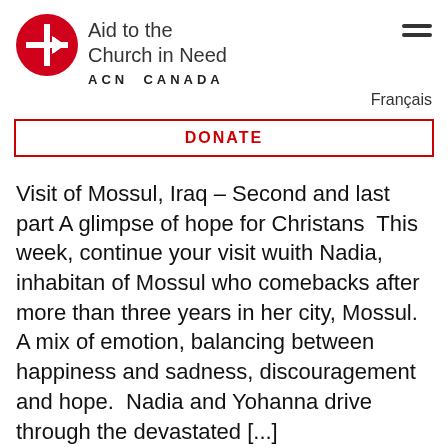[Figure (logo): Aid to the Church in Need logo — red circle with white cross and arrow symbol, text 'Aid to the Church in Need' and 'ACN CANADA']
Français
DONATE
Visit of Mossul, Iraq – Second and last part A glimpse of hope for Christans  This week, continue your visit wuith Nadia, inhabitan of Mossul who comebacks after more than three years in her city, Mossul. A mix of emotion, balancing between happiness and sadness, discouragement and hope.  Nadia and Yohanna drive through the devastated [...]
Mario Bard   February 21, 2018